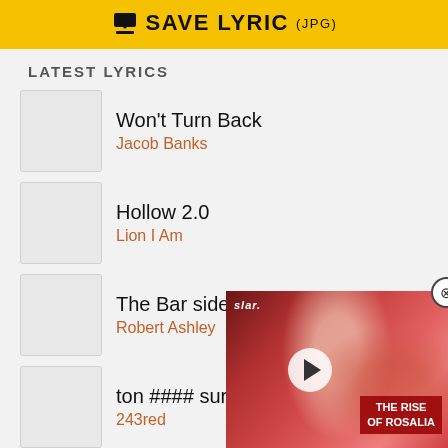[Figure (other): Yellow SAVE LYRIC (JPG) button banner at top]
LATEST LYRICS
Won't Turn Back – Jacob Banks
Hollow 2.0 – Lion I Am
The Bar side 1 – Robert Ashley
ton #### sur moi – 243red
БИТ СЛЕТЕЛ (intro) – Sures
Let The Weak Sleep – Lion I Am
Yêu Dấu Tan Theo
[Figure (photo): Video overlay of woman's face with THE RISE OF ROSALIA label and play button]